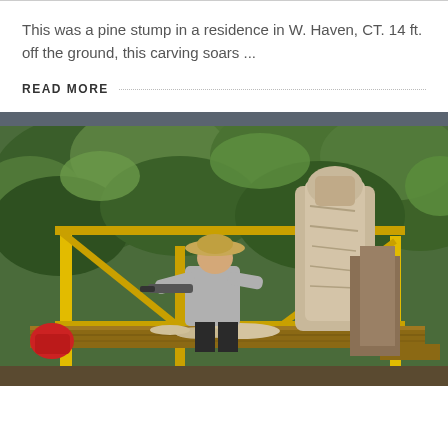This was a pine stump in a residence in W. Haven, CT. 14 ft. off the ground, this carving soars ...
READ MORE
[Figure (photo): A person wearing a hat works on carving a large wooden sculpture on scaffolding with yellow metal poles. The sculpture appears to be emerging from a tree stump. Dense green trees are visible in the background.]